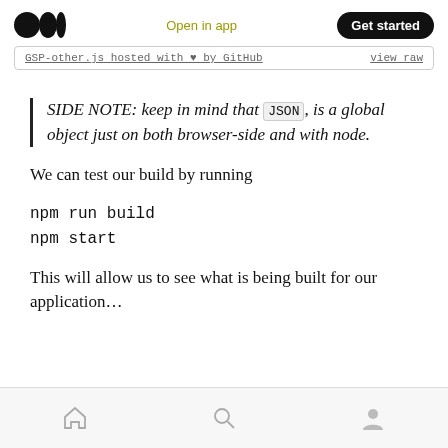Open in app | Get started
GSP-other.js hosted with ♥ by GitHub   view raw
SIDE NOTE: keep in mind that JSON, is a global object just on both browser-side and with node.
We can test our build by running
npm run build
npm start
This will allow us to see what is being built for our application...
[home icon] [search icon] [profile icon]